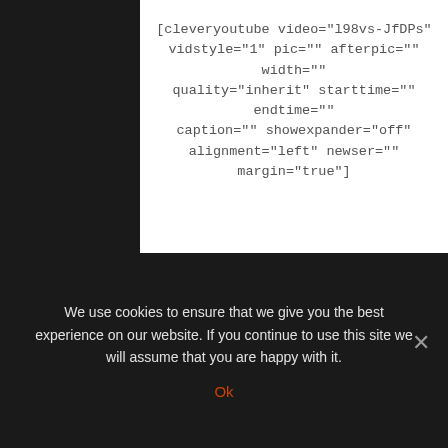[cleveryoutube video="l98vs-JfDPs" vidstyle="1" pic="" afterpic="" width="" quality="inherit" starttime="" endtime="" caption="" showexpander="off" alignment="left" newser="" margin="true"]
If the cabin was not artificially pressurized, our bodies would be doing a lot more expanding, or decompressing. In the early 20th century, pilots achieved altitudes of 12 kilometers without artificially pressurized cabins but suffered enlarged hearts and health problems afterwards. At cruising altitude for a commercial flight—around 11 to 12 kilometers above sea level— air pressure in the cabin is artificially
We use cookies to ensure that we give you the best experience on our website. If you continue to use this site we will assume that you are happy with it.
Ok